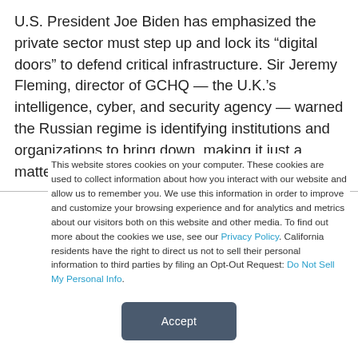U.S. President Joe Biden has emphasized the private sector must step up and lock its “digital doors” to defend critical infrastructure. Sir Jeremy Fleming, director of GCHQ — the U.K.’s intelligence, cyber, and security agency — warned the Russian regime is identifying institutions and organizations to bring down, making it just a matter of time before the attacks come.
This website stores cookies on your computer. These cookies are used to collect information about how you interact with our website and allow us to remember you. We use this information in order to improve and customize your browsing experience and for analytics and metrics about our visitors both on this website and other media. To find out more about the cookies we use, see our Privacy Policy. California residents have the right to direct us not to sell their personal information to third parties by filing an Opt-Out Request: Do Not Sell My Personal Info.
Accept